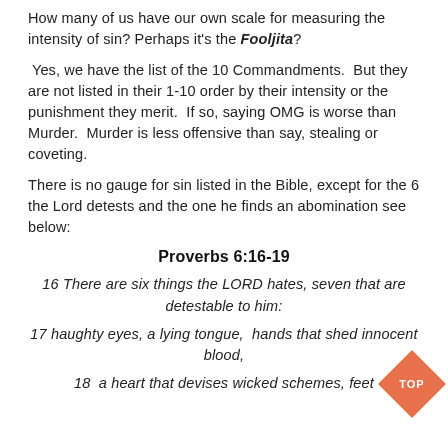How many of us have our own scale for measuring the intensity of sin? Perhaps it's the Fooljita?
Yes, we have the list of the 10 Commandments.  But they are not listed in their 1-10 order by their intensity or the punishment they merit.  If so, saying OMG is worse than Murder.  Murder is less offensive than say, stealing or coveting.
There is no gauge for sin listed in the Bible, except for the 6 the Lord detests and the one he finds an abomination see below:
Proverbs 6:16-19
16 There are six things the LORD hates, seven that are detestable to him:
17 haughty eyes, a lying tongue,  hands that shed innocent blood,
18  a heart that devises wicked schemes, feet